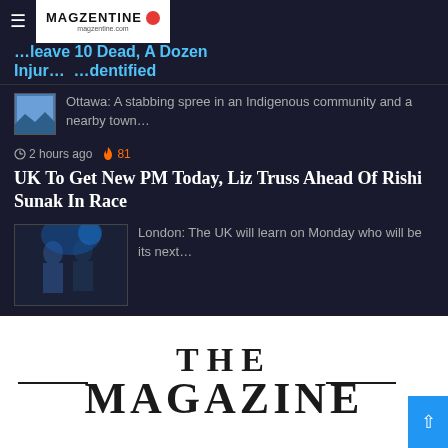MAGZENTINE magzentine.com
…leave 10 Dead, A Dozen Injured, Suspect Identified
Ottawa: A stabbing spree in an Indigenous community and a nearby town…
2 hours ago  81
UK To Get New PM Today, Liz Truss Ahead Of Rishi Sunak In Race
London: The UK will learn on Monday who will be its next…
THE MAGAZINE